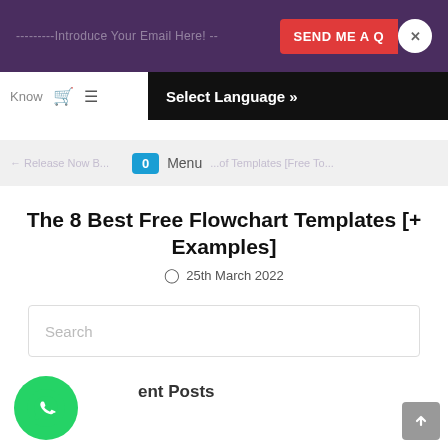---------Introduce Your Email Here! -- SEND ME A Q X
Select Language »
Know  | 4th May 2  | 0 Menu
The 8 Best Free Flowchart Templates [+ Examples]
25th March 2022
Search
ent Posts